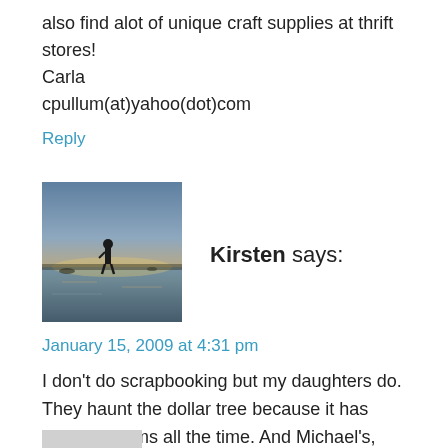also find alot of unique craft supplies at thrift stores! Carla cpullum(at)yahoo(dot)com
Reply
[Figure (photo): Avatar image of Kirsten: a person standing on a beach at sunset]
Kirsten says:
January 15, 2009 at 4:31 pm
I don't do scrapbooking but my daughters do. They haunt the dollar tree because it has amazing items all the time. And Michael's, too.
Reply